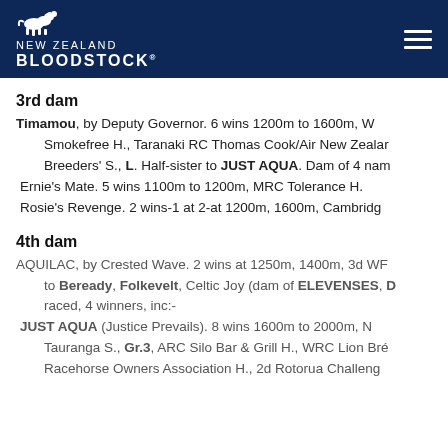NEW ZEALAND BLOODSTOCK
3rd dam
Timamou, by Deputy Governor. 6 wins 1200m to 1600m, W Smokefree H., Taranaki RC Thomas Cook/Air New Zealan Breeders' S., L. Half-sister to JUST AQUA. Dam of 4 nam Ernie's Mate. 5 wins 1100m to 1200m, MRC Tolerance H. Rosie's Revenge. 2 wins-1 at 2-at 1200m, 1600m, Cambridg
4th dam
AQUILAC, by Crested Wave. 2 wins at 1250m, 1400m, 3d WR to Beready, Folkevelt, Celtic Joy (dam of ELEVENSES, D raced, 4 winners, inc:- JUST AQUA (Justice Prevails). 8 wins 1600m to 2000m, N Tauranga S., Gr.3, ARC Silo Bar & Grill H., WRC Lion Bre Racehorse Owners Association H., 2d Rotorua Challeng